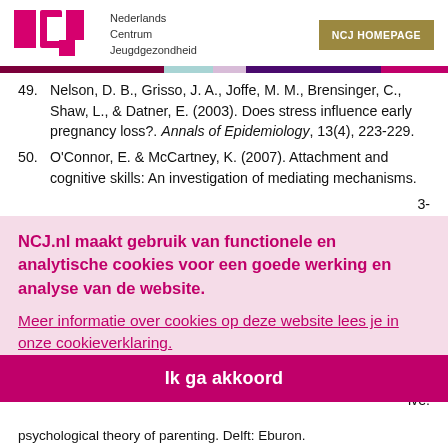Nederlands Centrum Jeugdgezondheid | NCJ HOMEPAGE
49. Nelson, D. B., Grisso, J. A., Joffe, M. M., Brensinger, C., Shaw, L., & Datner, E. (2003). Does stress influence early pregnancy loss?. Annals of Epidemiology, 13(4), 223-229.
50. O'Connor, E. & McCartney, K. (2007). Attachment and cognitive skills: An investigation of mediating mechanisms.
NCJ.nl maakt gebruik van functionele en analytische cookies voor een goede werking en analyse van de website.
Meer informatie over cookies op deze website lees je in onze cookieverklaring.
Ik ga akkoord
psychological theory of parenting. Delft: Eburon.